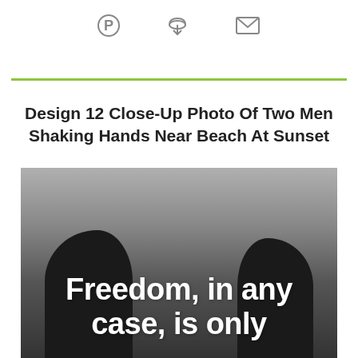[Figure (infographic): Three social sharing icons: Pinterest (circle P), download/cloud icon, and envelope/mail icon, displayed in a row]
Design 12 Close-Up Photo Of Two Men Shaking Hands Near Beach At Sunset
[Figure (photo): Black and white photo of two men silhouetted against a beach sunset sky, with white bold text overlay reading 'Freedom, in any case, is only']